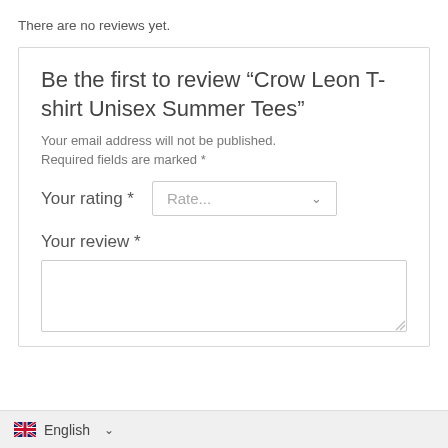There are no reviews yet.
Be the first to review “Crow Leon T-shirt Unisex Summer Tees”
Your email address will not be published.
Required fields are marked *
Your rating *
Your review *
English